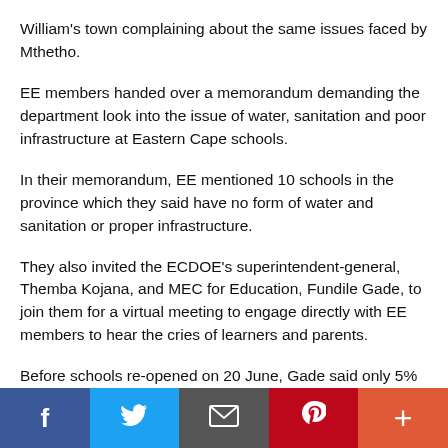William's town complaining about the same issues faced by Mthetho.
EE members handed over a memorandum demanding the department look into the issue of water, sanitation and poor infrastructure at Eastern Cape schools.
In their memorandum, EE mentioned 10 schools in the province which they said have no form of water and sanitation or proper infrastructure.
They also invited the ECDOE's superintendent-general, Themba Kojana, and MEC for Education, Fundile Gade, to join them for a virtual meeting to engage directly with EE members to hear the cries of learners and parents.
Before schools re-opened on 20 June, Gade said only 5% of schools were not ready due to issues of infrastructure and water.